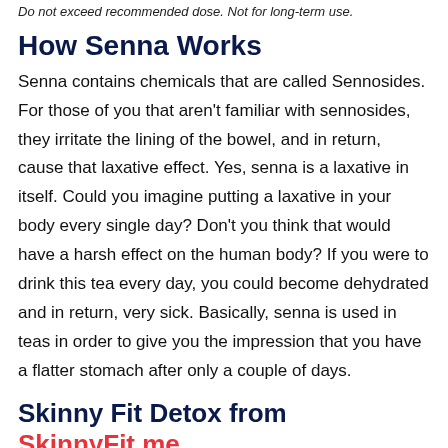Do not exceed recommended dose. Not for long-term use.
How Senna Works
Senna contains chemicals that are called Sennosides. For those of you that aren't familiar with sennosides, they irritate the lining of the bowel, and in return, cause that laxative effect. Yes, senna is a laxative in itself. Could you imagine putting a laxative in your body every single day? Don't you think that would have a harsh effect on the human body? If you were to drink this tea every day, you could become dehydrated and in return, very sick. Basically, senna is used in teas in order to give you the impression that you have a flatter stomach after only a couple of days.
Skinny Fit Detox from SkinnyFit.me Doesn't Contain Senna – Does that mean it's better?